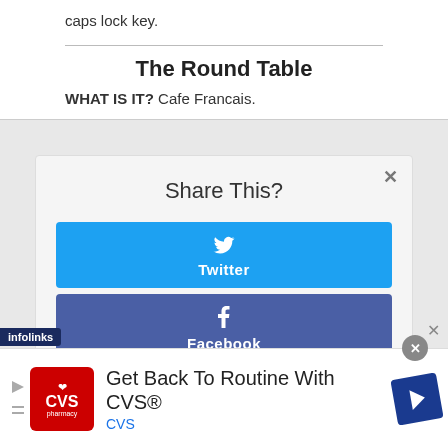caps lock key.
The Round Table
WHAT IS IT? Cafe Francais.
[Figure (screenshot): Share This? modal dialog with Twitter and Facebook share buttons. A close (×) button is in the top right corner. Twitter button is blue, Facebook button is dark blue/indigo.]
[Figure (screenshot): CVS Pharmacy advertisement: Get Back To Routine With CVS® with CVS logo and navigation icon. Infolinks badge visible at bottom left.]